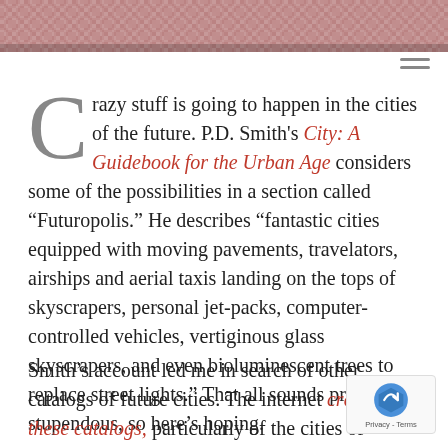[Figure (photo): Aerial or abstract city/urban pattern image strip at top of page]
Crazy stuff is going to happen in the cities of the future. P.D. Smith's City: A Guidebook for the Urban Age considers some of the possibilities in a section called “Futuropolis.” He describes “fantastic cities equipped with moving pavements, travelators, airships and aerial taxis landing on the tops of skyscrapers, personal jet-packs, computer-controlled vehicles, vertiginous glass skyscrapers, and even bioluminescent trees to replace street lights.” That all sounds pretty stupendous, so here’s hoping.
Smith’s account led me in search of other catalogs of future cities. The internet crawls with these catalogs, particularly of the cities of science